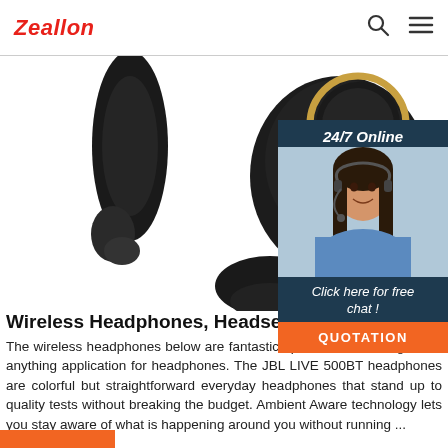Zeallon
[Figure (photo): Close-up product photo of black wireless earbuds/headphones with gold accent ring on a white background]
[Figure (photo): 24/7 Online customer support widget showing a smiling woman with a headset, with 'Click here for free chat!' text and an orange QUOTATION button]
Wireless Headphones, Headsets & Earbuds
The wireless headphones below are fantastic options for watching TV or anything application for headphones. The JBL LIVE 500BT headphones are colorful but straightforward everyday headphones that stand up to quality tests without breaking the budget. Ambient Aware technology lets you stay aware of what is happening around you without running ...